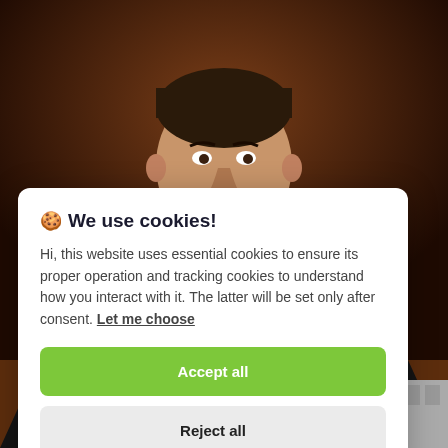[Figure (photo): Portrait photo of a man in a dark pinstripe suit with a blue tie, photographed against a brown background. A cookie consent modal overlay is visible in the lower portion of the image.]
🍪 We use cookies!
Hi, this website uses essential cookies to ensure its proper operation and tracking cookies to understand how you interact with it. The latter will be set only after consent. Let me choose